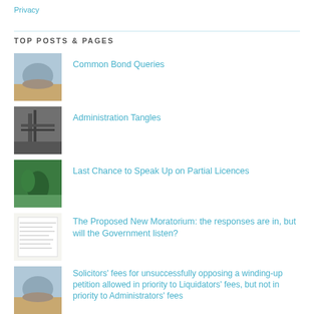Privacy
TOP POSTS & PAGES
Common Bond Queries
Administration Tangles
Last Chance to Speak Up on Partial Licences
The Proposed New Moratorium: the responses are in, but will the Government listen?
Solicitors' fees for unsuccessfully opposing a winding-up petition allowed in priority to Liquidators' fees, but not in priority to Administrators' fees